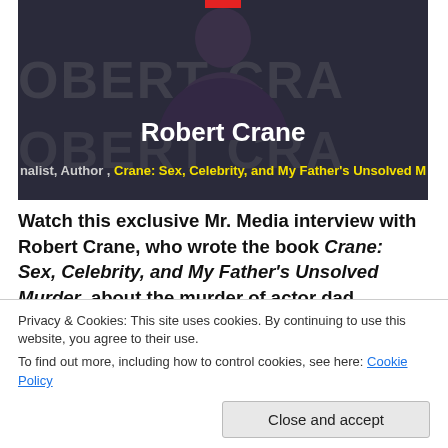[Figure (screenshot): Video thumbnail showing Robert Crane with dark background and large text overlay. Name 'Robert Crane' in white bold text, subtitle 'nalist, Author , Crane: Sex, Celebrity, and My Father's Unsolved M' in gray and yellow.]
Watch this exclusive Mr. Media interview with Robert Crane, who wrote the book Crane: Sex, Celebrity, and My Father's Unsolved Murder, about the murder of actor dad, "Hogan's Heroes" TV star Bob Crane by clicking on the video player above!
Privacy & Cookies: This site uses cookies. By continuing to use this website, you agree to their use.
To find out more, including how to control cookies, see here: Cookie Policy